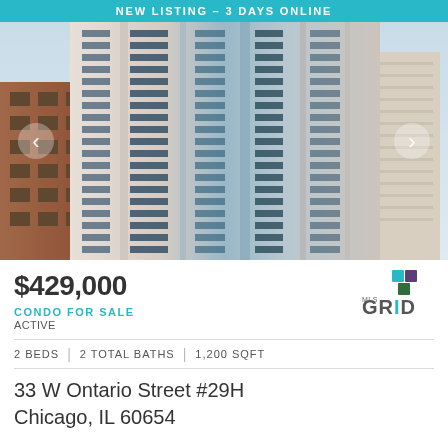NEW LISTING - 3 DAYS ONLINE
[Figure (photo): Exterior photo of a tall modern glass and concrete skyscraper in Chicago, viewed from below at an angle. The building has many floors with alternating glass and concrete panels. Other buildings visible in the background under a blue sky.]
$429,000
CONDO FOR SALE
ACTIVE
2 BEDS  |  2 TOTAL BATHS  |  1,200 SQFT
33 W Ontario Street #29H
Chicago, IL 60654